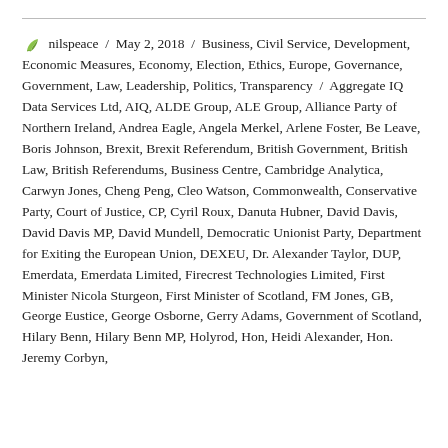nilspeace / May 2, 2018 / Business, Civil Service, Development, Economic Measures, Economy, Election, Ethics, Europe, Governance, Government, Law, Leadership, Politics, Transparency / Aggregate IQ Data Services Ltd, AIQ, ALDE Group, ALE Group, Alliance Party of Northern Ireland, Andrea Eagle, Angela Merkel, Arlene Foster, Be Leave, Boris Johnson, Brexit, Brexit Referendum, British Government, British Law, British Referendums, Business Centre, Cambridge Analytica, Carwyn Jones, Cheng Peng, Cleo Watson, Commonwealth, Conservative Party, Court of Justice, CP, Cyril Roux, Danuta Hubner, David Davis, David Davis MP, David Mundell, Democratic Unionist Party, Department for Exiting the European Union, DEXEU, Dr. Alexander Taylor, DUP, Emerdata, Emerdata Limited, Firecrest Technologies Limited, First Minister Nicola Sturgeon, First Minister of Scotland, FM Jones, GB, George Eustice, George Osborne, Gerry Adams, Government of Scotland, Hilary Benn, Hilary Benn MP, Holyrod, Hon, Heidi Alexander, Hon. Jeremy Corbyn